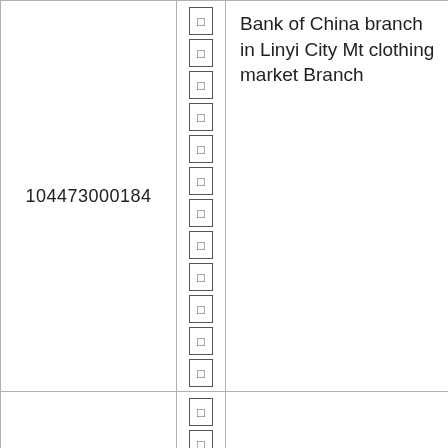| 104473000184 | □□□□□□□□□□□□ | Bank of China branch in Linyi City Mt clothing market Branch |
|  | □□□□□ |  |